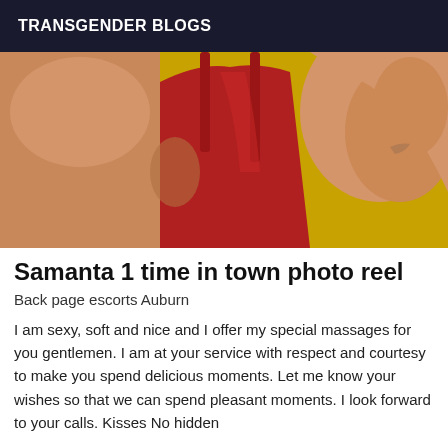TRANSGENDER BLOGS
[Figure (photo): Close-up photo of a person wearing a red sleeveless top/swimsuit, with arm raised behind head, against a yellow/golden background. The image is cropped showing shoulders and torso from behind/side.]
Samanta 1 time in town photo reel
Back page escorts Auburn
I am sexy, soft and nice and I offer my special massages for you gentlemen. I am at your service with respect and courtesy to make you spend delicious moments. Let me know your wishes so that we can spend pleasant moments. I look forward to your calls. Kisses No hidden